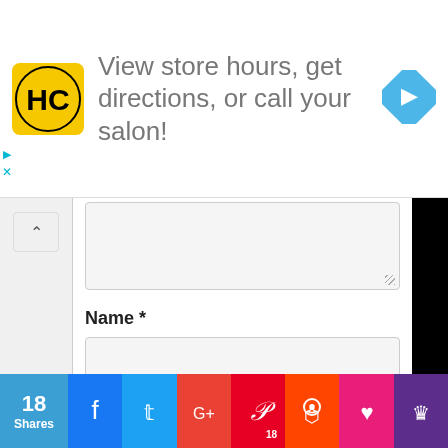[Figure (infographic): Ad banner: HC logo (yellow/black circle), text 'View store hours, get directions, or call your salon!', blue diamond arrow icon]
Name *
Email *
Website
[Figure (infographic): Social share bar with 18 Shares count, Facebook, Twitter, Google+, Pinterest (18), Reddit, heart/like, crown buttons]